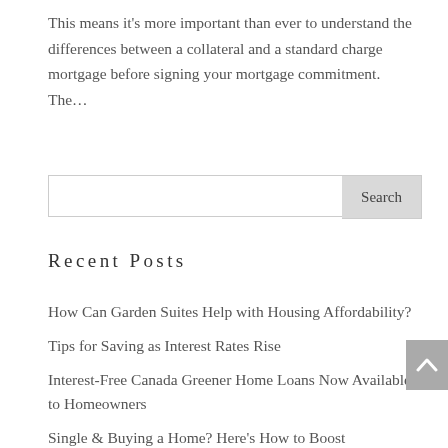This means it’s more important than ever to understand the differences between a collateral and a standard charge mortgage before signing your mortgage commitment.   The…
Search
Recent Posts
How Can Garden Suites Help with Housing Affordability?
Tips for Saving as Interest Rates Rise
Interest-Free Canada Greener Home Loans Now Available to Homeowners
Single & Buying a Home? Here’s How to Boost